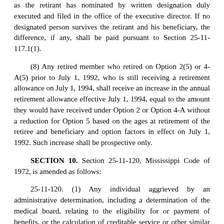as the retirant has nominated by written designation duly executed and filed in the office of the executive director.  If no designated person survives the retirant and his beneficiary, the difference, if any, shall be paid pursuant to Section 25-11-117.1(1).
(8)  Any retired member who retired on Option 2(5) or 4-A(5) prior to July 1, 1992, who is still receiving a retirement allowance on July 1, 1994, shall receive an increase in the annual retirement allowance effective July 1, 1994, equal to the amount they would have received under Option 2 or Option 4-A without a reduction for Option 5 based on the ages at retirement of the retiree and beneficiary and option factors in effect on July 1, 1992.  Such increase shall be prospective only.
SECTION 10.  Section 25-11-120, Mississippi Code of 1972, is amended as follows:
25-11-120.  (1)  Any individual aggrieved by an administrative determination, including a determination of the medical board, relating to the eligibility for or payment of benefits, or the calculation of creditable service or other similar matters relating to the Public Employees' Retirement System or any other retirement system or program administered by the board, may request a hearing before a hearing officer designated by the board.  Such hearings shall be conducted in accordance with rules and regulations adopted by the board and formal rules of evidence shall